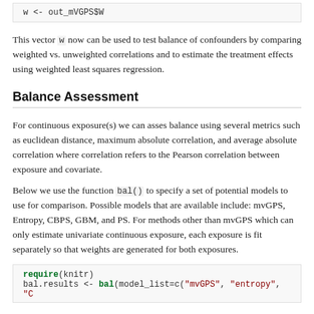[Figure (screenshot): Code block showing: w <- out_mVGPS$W]
This vector w now can be used to test balance of confounders by comparing weighted vs. unweighted correlations and to estimate the treatment effects using weighted least squares regression.
Balance Assessment
For continuous exposure(s) we can asses balance using several metrics such as euclidean distance, maximum absolute correlation, and average absolute correlation where correlation refers to the Pearson correlation between exposure and covariate.
Below we use the function bal() to specify a set of potential models to use for comparison. Possible models that are available include: mvGPS, Entropy, CBPS, GBM, and PS. For methods other than mvGPS which can only estimate univariate continuous exposure, each exposure is fit separately so that weights are generated for both exposures.
[Figure (screenshot): Code block showing: require(knitr) and bal.results <- bal(model_list=c("mvGPS", "entropy", "C...]